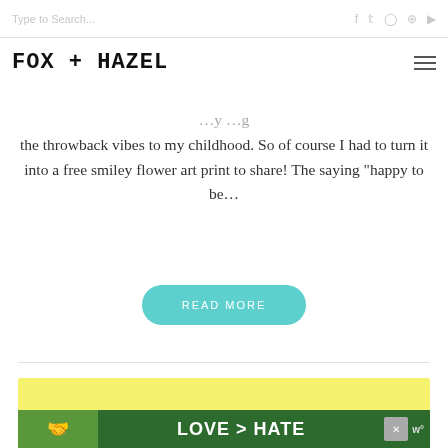Type to Search...  [social icons: f, twitter, instagram, pinterest, youtube]
[Figure (logo): FOX + HAZEL blog logo in bold handwritten/stencil uppercase font, with hamburger menu icon on the right]
the throwback vibes to my childhood. So of course I had to turn it into a free smiley flower art print to share! The saying “happy to be…
READ MORE
[Figure (illustration): Yellow card/banner at bottom of page with a pencil illustration partially visible]
[Figure (photo): Advertisement banner with hands forming a heart shape over green background, text reads LOVE > HATE with a close button and W logo]